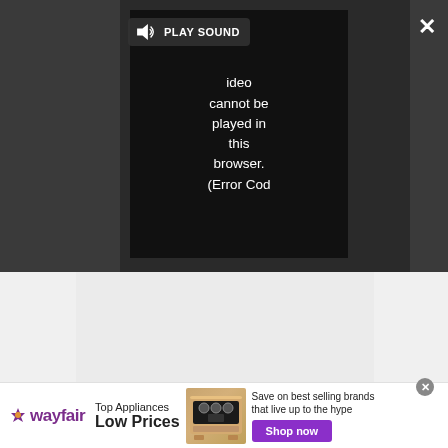[Figure (screenshot): Video player overlay with dark gray background showing a video error message: 'Video cannot be played in this browser. (Error Cod'. A PLAY SOUND button with speaker icon is shown at top left of the video area. An X close button is at top right of the screen. An expand/fullscreen button is at bottom right.]
[Figure (screenshot): Light gray content area below the video player.]
[Figure (screenshot): Wayfair advertisement banner at bottom: Wayfair logo (purple star + 'wayfair' text), 'Top Appliances Low Prices' text, image of a stove/range appliance, 'Save on best selling brands that live up to the hype' text, purple 'Shop now' button. Small gray circle X close button at top right of the ad.]